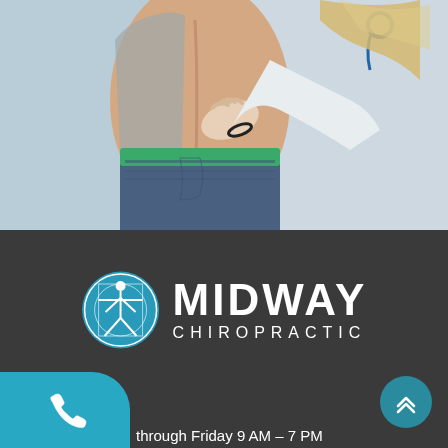[Figure (photo): A chiropractor examining a patient's lower back / spine area. The patient is wearing jeans with a green waistband and a lifted grey shirt, and the practitioner in a white coat is pressing on the patient's lower back with stethoscope visible.]
[Figure (logo): Midway Chiropractic logo: a blue circle containing the Vitruvian man figure in white, next to the text MIDWAY in large white letters and CHIROPRACTIC in smaller spaced white letters below.]
through Friday 9 AM – 7 PM